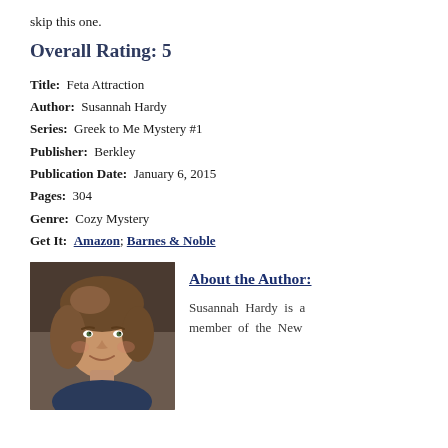skip this one.
Overall Rating: 5
Title:  Feta Attraction
Author:  Susannah Hardy
Series:  Greek to Me Mystery #1
Publisher:  Berkley
Publication Date:  January 6, 2015
Pages:  304
Genre:  Cozy Mystery
Get It:  Amazon; Barnes & Noble
[Figure (photo): Headshot photo of author Susannah Hardy, a woman with brown hair, smiling, with a dark background]
About the Author:
Susannah Hardy is a member of the New